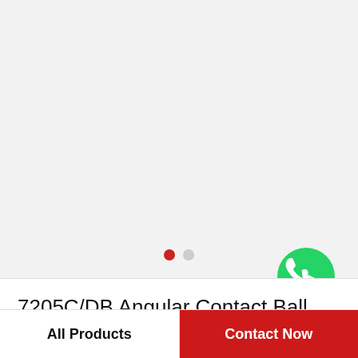[Figure (logo): WhatsApp icon — green circle with white phone handset, labeled WhatsApp Online]
7205C/DB Angular Contact Ball Bearing 25x52x30mm
All Products
Contact Now